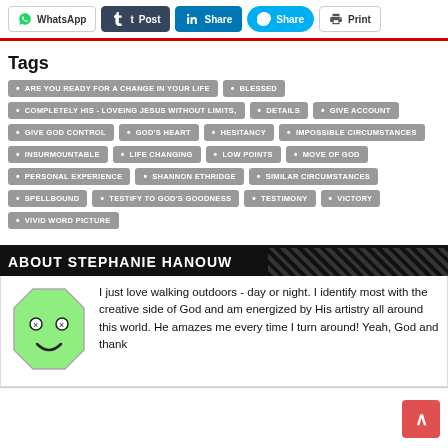[Figure (screenshot): Social sharing buttons: WhatsApp, Tumblr Post, LinkedIn Share, Skype Share, Print]
Tags: ARE YOU READY FOR A CHANGE IN YOUR LIFE, BLESSED, COMPLETELY HIS - LOVEING JESUS WITHOUT LIMITS, DETAILS, GIVE ACCOUNT, GIVE GOD CONTROL, GOD'S HEART, HESITANCY, IMPOSSIBLE CIRCUMSTANCES, INSURMOUNTABLE, LIFE CHANGING, LOW POINTS, MOVE OF GOD, PERSONAL EXPERIENCE, SHANNON ETHRIDGE, SIMILAR CIRCUMSTANCES, SPELLBOUND, TESTIFY TO GOD'S GOODNESS, TESTIMONY, VICTORY, VIVID WORD PICTURE
ABOUT STEPHANIE HANOUW
[Figure (illustration): Green octagon-shaped cartoon avatar with x-eyes and a smile]
I just love walking outdoors - day or night. I identify most with the creative side of God and am energized by His artistry all around this world. He amazes me every time I turn around! Yeah, God and thank